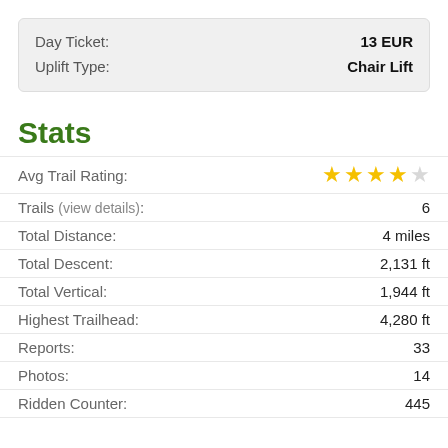| Day Ticket: | 13 EUR |
| Uplift Type: | Chair Lift |
Stats
| Avg Trail Rating: | ★★★★☆ |
| Trails (view details): | 6 |
| Total Distance: | 4 miles |
| Total Descent: | 2,131 ft |
| Total Vertical: | 1,944 ft |
| Highest Trailhead: | 4,280 ft |
| Reports: | 33 |
| Photos: | 14 |
| Ridden Counter: | 445 |